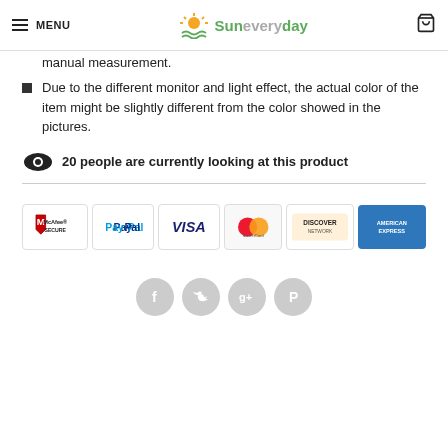MENU | Suneveryday
Due to the different monitor and light effect, the actual color of the item might be slightly different from the color showed in the pictures.
20 people are currently looking at this product
[Figure (other): Payment badges: McAfee SECURE, PayPal, VISA, MasterCard, Discover Network, American Express]
[Figure (other): Social media share icons: Facebook, Twitter, Google+, Pinterest]